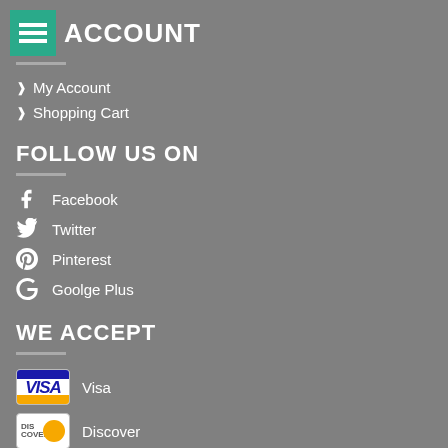ACCOUNT
My Account
Shopping Cart
FOLLOW US ON
Facebook
Twitter
Pinterest
Goolge Plus
WE ACCEPT
Visa
Discover